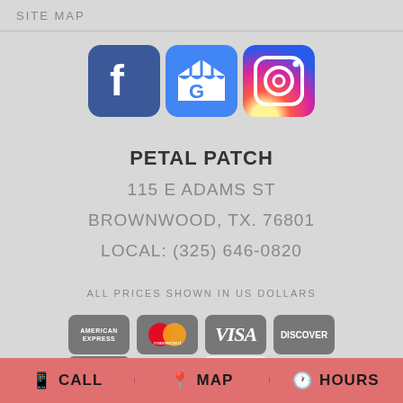SITE MAP
[Figure (logo): Social media icons: Facebook, Google My Business, Instagram]
PETAL PATCH
115 E ADAMS ST
BROWNWOOD, TX. 76801
LOCAL: (325) 646-0820
ALL PRICES SHOWN IN US DOLLARS
[Figure (logo): Payment method logos: American Express, Mastercard, Visa, Discover]
CALL   MAP   HOURS